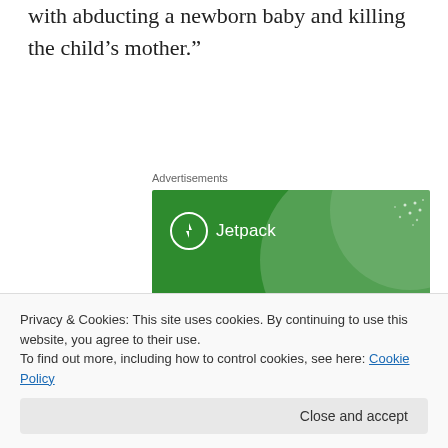with abducting a newborn baby and killing the child’s mother.”
[Figure (advertisement): Jetpack advertisement with green background, Jetpack logo and text reading 'The best real-time WordPress backup plugin']
Privacy & Cookies: This site uses cookies. By continuing to use this website, you agree to their use.
To find out more, including how to control cookies, see here: Cookie Policy
Close and accept